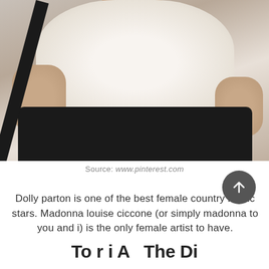[Figure (photo): A person wearing a white/cream button-up blouse and black pants, with hands on hips, photographed from chest to waist level. A dark diagonal railing or beam crosses the image.]
Source: www.pinterest.com
Dolly parton is one of the best female country music stars. Madonna louise ciccone (or simply madonna to you and i) is the only female artist to have.
To be i A The Di